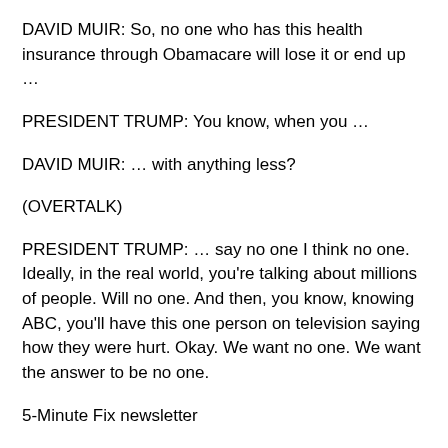DAVID MUIR: So, no one who has this health insurance through Obamacare will lose it or end up …
PRESIDENT TRUMP: You know, when you …
DAVID MUIR: … with anything less?
(OVERTALK)
PRESIDENT TRUMP: … say no one I think no one. Ideally, in the real world, you're talking about millions of people. Will no one. And then, you know, knowing ABC, you'll have this one person on television saying how they were hurt. Okay. We want no one. We want the answer to be no one.
5-Minute Fix newsletter